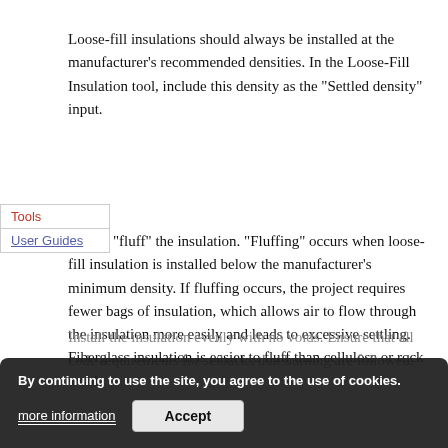Loose-fill insulations should always be installed at the manufacturer's recommended densities. In the Loose-Fill Insulation tool, include this density as the "Settled density" input.
Do not “fluff” the insulation. “Fluffing” occurs when loose-fill insulation is installed below the manufacturer’s minimum density. If fluffing occurs, the project requires fewer bags of insulation, which allows air to flow through the insulation more easily and leads to excessive settling. Fiberglass insulation is easier to fluff than cellulose or rock wool.
Install the insulation evenly with no voids. Ensure that all code requirements for setbacks that burning are followed.
By continuing to use the site, you agree to the use of cookies.